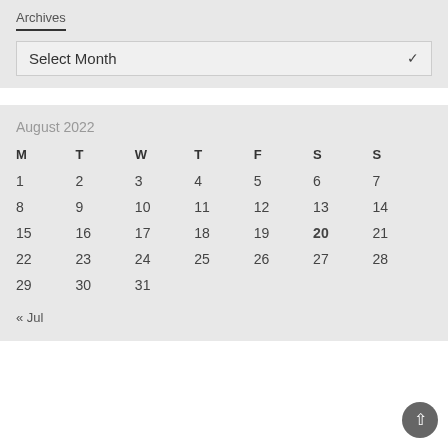Archives
Select Month
August 2022
| M | T | W | T | F | S | S |
| --- | --- | --- | --- | --- | --- | --- |
| 1 | 2 | 3 | 4 | 5 | 6 | 7 |
| 8 | 9 | 10 | 11 | 12 | 13 | 14 |
| 15 | 16 | 17 | 18 | 19 | 20 | 21 |
| 22 | 23 | 24 | 25 | 26 | 27 | 28 |
| 29 | 30 | 31 |  |  |  |  |
« Jul